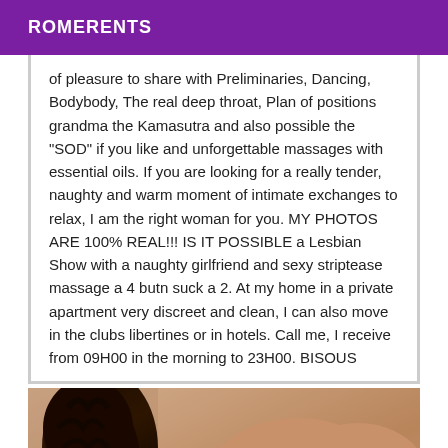ROMERENTS
of pleasure to share with Preliminaries, Dancing, Bodybody, The real deep throat, Plan of positions grandma the Kamasutra and also possible the "SOD" if you like and unforgettable massages with essential oils. If you are looking for a really tender, naughty and warm moment of intimate exchanges to relax, I am the right woman for you. MY PHOTOS ARE 100% REAL!!! IS IT POSSIBLE a Lesbian Show with a naughty girlfriend and sexy striptease massage a 4 butn suck a 2. At my home in a private apartment very discreet and clean, I can also move in the clubs libertines or in hotels. Call me, I receive from 09H00 in the morning to 23H00. BISOUS
[Figure (photo): Photo of a woman with curly dark hair viewed from behind, showing her shoulder and back]